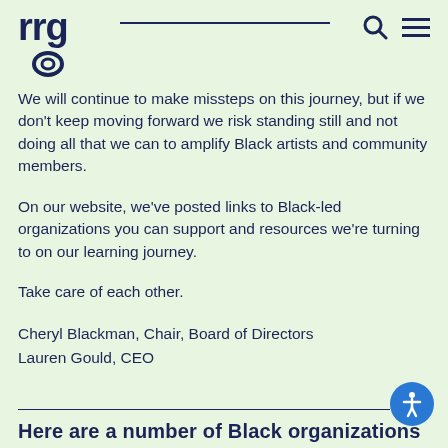RRG logo with navigation search and hamburger menu icons
We will continue to make missteps on this journey, but if we don't keep moving forward we risk standing still and not doing all that we can to amplify Black artists and community members.
On our website, we've posted links to Black-led organizations you can support and resources we're turning to on our learning journey.
Take care of each other.
Cheryl Blackman, Chair, Board of Directors
Lauren Gould, CEO
Here are a number of Black organizations